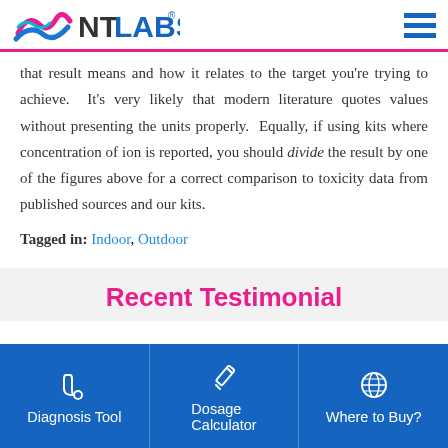NT LABS
that result means and how it relates to the target you’re trying to achieve. It’s very likely that modern literature quotes values without presenting the units properly. Equally, if using kits where concentration of ion is reported, you should divide the result by one of the figures above for a correct comparison to toxicity data from published sources and our kits.
Tagged in: Indoor, Outdoor
Recent Testimonial
Diagnosis Tool
Dosage Calculator
Where to Buy?